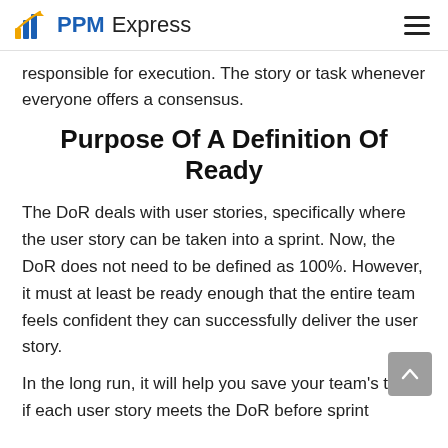PPM Express
responsible for execution. The story or task whenever everyone offers a consensus.
Purpose Of A Definition Of Ready
The DoR deals with user stories, specifically where the user story can be taken into a sprint. Now, the DoR does not need to be defined as 100%. However, it must at least be ready enough that the entire team feels confident they can successfully deliver the user story.
In the long run, it will help you save your team's time if each user story meets the DoR before sprint